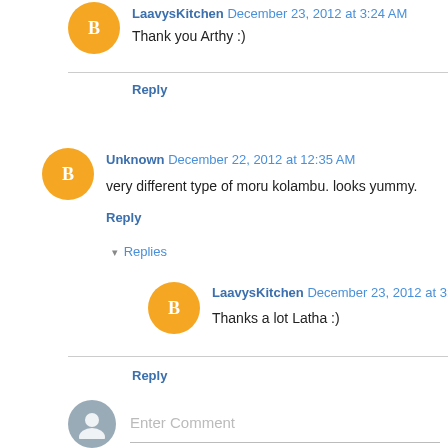[Figure (illustration): Orange blogger avatar circle with white B letter icon, top left area]
LaavysKitchen December 23, 2012 at 3:24 AM
Thank you Arthy :)
Reply
[Figure (illustration): Orange blogger avatar circle with white B letter icon]
Unknown December 22, 2012 at 12:35 AM
very different type of moru kolambu. looks yummy.
Reply
▾ Replies
[Figure (illustration): Orange blogger avatar circle with white B letter icon, reply]
LaavysKitchen December 23, 2012 at 3:24 AM
Thanks a lot Latha :)
Reply
[Figure (illustration): Gray user silhouette avatar circle for comment input]
Enter Comment